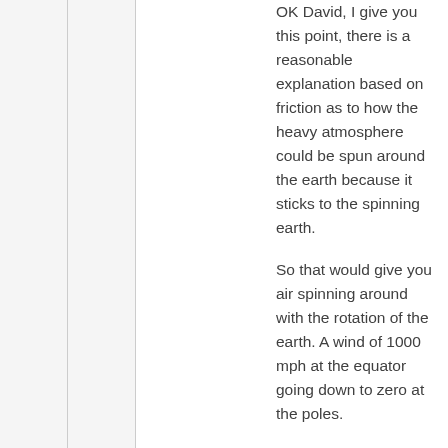OK David, I give you this point, there is a reasonable explanation based on friction as to how the heavy atmosphere could be spun around the earth because it sticks to the spinning earth.
So that would give you air spinning around with the rotation of the earth. A wind of 1000 mph at the equator going down to zero at the poles.
So not that you are actually synchronized with the rotation of the earth, you are blowing in the wind.
So yes, I guess it is possible, spinning earth with spinning atmosphere stuck to it with everything in the atmosphere…